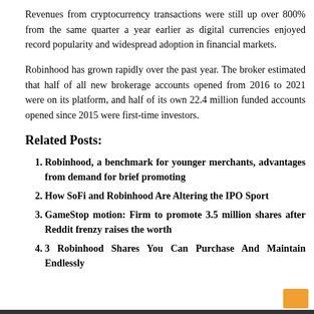Revenues from cryptocurrency transactions were still up over 800% from the same quarter a year earlier as digital currencies enjoyed record popularity and widespread adoption in financial markets.
Robinhood has grown rapidly over the past year. The broker estimated that half of all new brokerage accounts opened from 2016 to 2021 were on its platform, and half of its own 22.4 million funded accounts opened since 2015 were first-time investors.
Related Posts:
Robinhood, a benchmark for younger merchants, advantages from demand for brief promoting
How SoFi and Robinhood Are Altering the IPO Sport
GameStop motion: Firm to promote 3.5 million shares after Reddit frenzy raises the worth
3 Robinhood Shares You Can Purchase And Maintain Endlessly